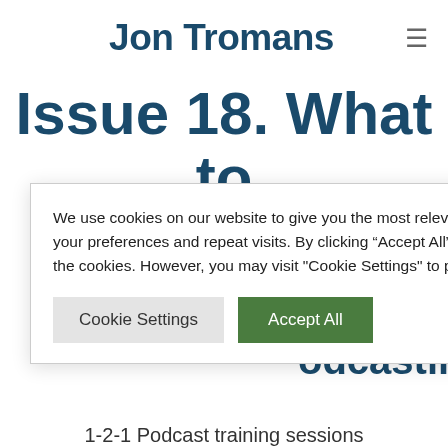Jon Tromans
Issue 18. What to edit out of a
We use cookies on our website to give you the most relevant experience by remembering your preferences and repeat visits. By clicking “Accept All”, you consent to the use of ALL the cookies. However, you may visit "Cookie Settings" to provide a controlled consent.
odcasting
1-2-1 Podcast training sessions